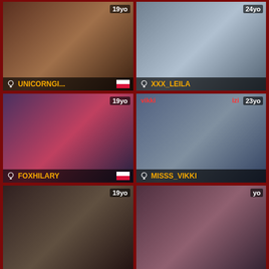[Figure (photo): Webcam thumbnail showing UNICORNGI... streamer, 19yo, Polish flag]
[Figure (photo): Webcam thumbnail showing XXX_LEILA streamer, 24yo]
[Figure (photo): Webcam thumbnail showing FOXHILARY streamer, 19yo, Polish flag]
[Figure (photo): Webcam thumbnail showing MISSS_VIKKI streamer, 23yo, vikki and izi labels]
[Figure (photo): Webcam thumbnail, 19yo, partially visible at bottom]
[Figure (photo): Webcam thumbnail, yo label, partially visible at bottom]